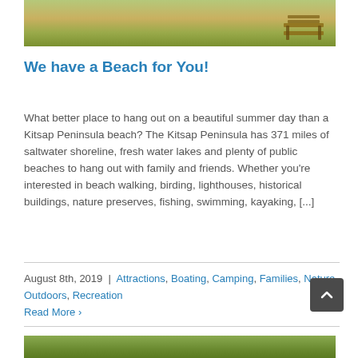[Figure (photo): Top portion of a beach/park photo showing grassy area and a bench]
We have a Beach for You!
What better place to hang out on a beautiful summer day than a Kitsap Peninsula beach? The Kitsap Peninsula has 371 miles of saltwater shoreline, fresh water lakes and plenty of public beaches to hang out with family and friends. Whether you're interested in beach walking, birding, lighthouses, historical buildings, nature preserves, fishing, swimming, kayaking, [...]
August 8th, 2019 | Attractions, Boating, Camping, Families, Nature, Outdoors, Recreation
Read More
[Figure (photo): Bottom portion of another photo showing greenery/beach scene]